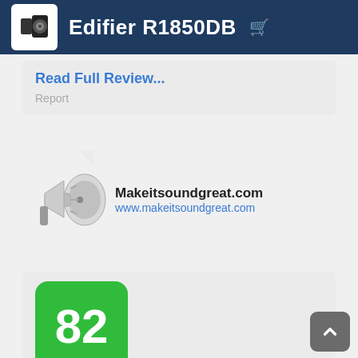Edifier R1850DB
Read Full Review...
Report
[Figure (illustration): Megaphone/loudspeaker illustration in grayscale]
Makeitsoundgreat.com
www.makeitsoundgreat.com
[Figure (infographic): Green score badge with number 82]
The Edifier R1850DB is a great all-round set of speakers. They have a great finish to them and offer the option for an extra sub-woofer to be added.
Read Full Review...
Report